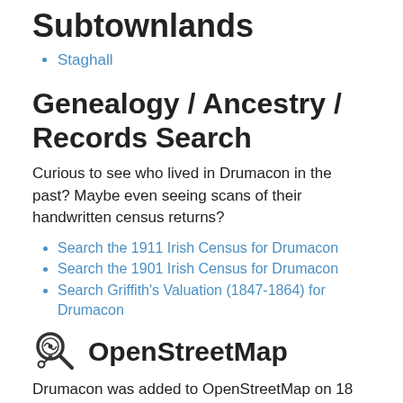Subtownlands
Staghall
Genealogy / Ancestry / Records Search
Curious to see who lived in Drumacon in the past? Maybe even seeing scans of their handwritten census returns?
Search the 1911 Irish Census for Drumacon
Search the 1901 Irish Census for Drumacon
Search Griffith's Valuation (1847-1864) for Drumacon
OpenStreetMap
Drumacon was added to OpenStreetMap on 18 Dec 2015 by Stephen_Co_Antrim.
View
View on OpenStreetMap.org
Show Changes
Edit